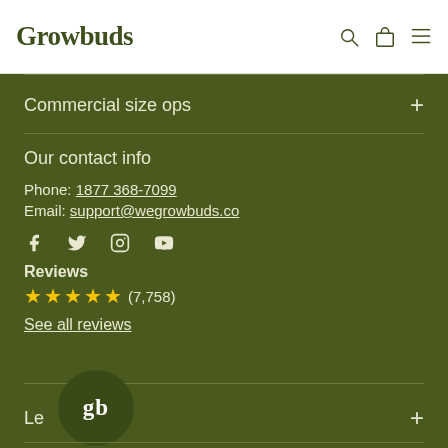Growbuds
Commercial size ops
Our contact info
Phone: 1877 368-7099
Email: support@wegrowbuds.co
[Figure (other): Social media icons: Facebook, Twitter, Instagram, YouTube]
Reviews
★★★★★ (7,758)
See all reviews
Le
[Figure (logo): gb circular badge logo]